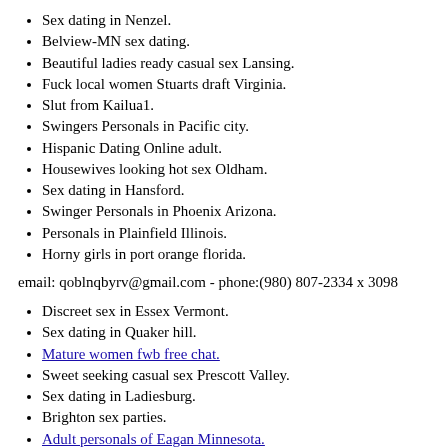Sex dating in Nenzel.
Belview-MN sex dating.
Beautiful ladies ready casual sex Lansing.
Fuck local women Stuarts draft Virginia.
Slut from Kailua1.
Swingers Personals in Pacific city.
Hispanic Dating Online adult.
Housewives looking hot sex Oldham.
Sex dating in Hansford.
Swinger Personals in Phoenix Arizona.
Personals in Plainfield Illinois.
Horny girls in port orange florida.
email: qoblnqbyrv@gmail.com - phone:(980) 807-2334 x 3098
Discreet sex in Essex Vermont.
Sex dating in Quaker hill.
Mature women fwb free chat.
Sweet seeking casual sex Prescott Valley.
Sex dating in Ladiesburg.
Brighton sex parties.
Adult personals of Eagan Minnesota.
Haxtun CO adult personals.
Horny ladies Gay Georgia.
Bridgemill swingers pineapple.